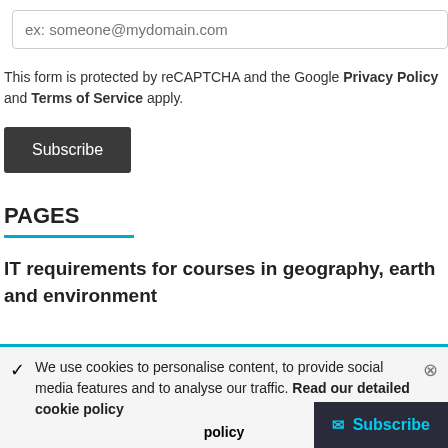ex: someone@mydomain.com
This form is protected by reCAPTCHA and the Google Privacy Policy and Terms of Service apply.
Subscribe
PAGES
IT requirements for courses in geography, earth and environment
We use cookies to personalise content, to provide social media features and to analyse our traffic. Read our detailed cookie policy